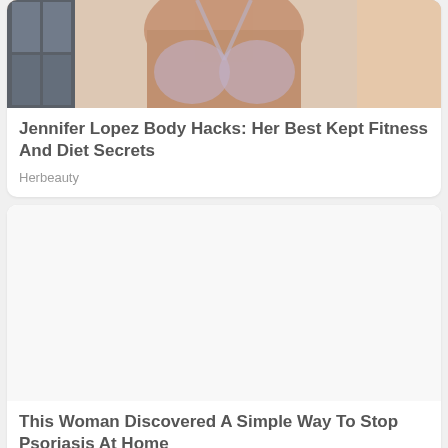[Figure (photo): Photo of a woman in a grey/silver bikini top, showing torso and neck area]
Jennifer Lopez Body Hacks: Her Best Kept Fitness And Diet Secrets
Herbeauty
[Figure (photo): Large white/blank image area for second article]
This Woman Discovered A Simple Way To Stop Psoriasis At Home
Herbeauty